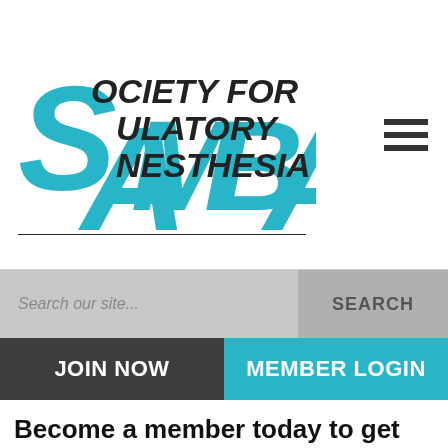[Figure (logo): SAMBA – Society for Ambulatory Anesthesia logo with large blue stylized letters S, A, M, B, A and black text 'SOCIETY FOR AMBULATORY ANESTHESIA']
Search our site...
SEARCH
JOIN NOW
MEMBER LOGIN
Become a member today to get all of this cutting-edge information and more...
SAMBA's mission is to advance the practice of ambulatory anesthesia in all ambulatory venues, to encourage high ethical and professional standards by fostering and encouraging education and research, and to provide professional guidance for the practice